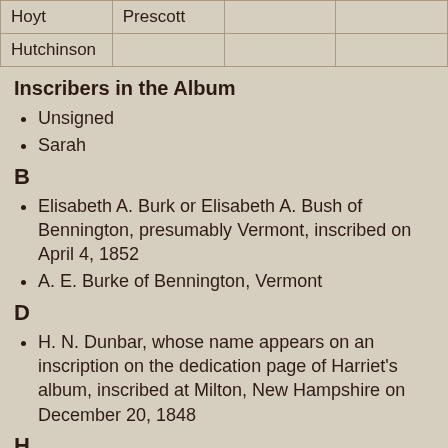| Hoyt | Prescott |  |  |
| Hutchinson |  |  |  |
Inscribers in the Album
Unsigned
Sarah
B
Elisabeth A. Burk or Elisabeth A. Bush of Bennington, presumably Vermont, inscribed on April 4, 1852
A. E. Burke of Bennington, Vermont
D
H. N. Dunbar, whose name appears on an inscription on the dedication page of Harriet's album, inscribed at Milton, New Hampshire on December 20, 1848
H
Georgianna H., inscribed at Milford, New